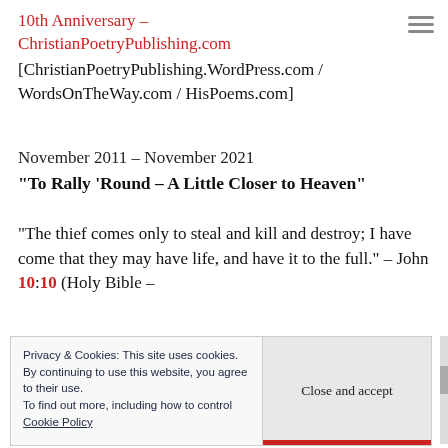10th Anniversary – ChristianPoetryPublishing.com [ChristianPoetryPublishing.WordPress.com / WordsOnTheWay.com / HisPoems.com]
November 2011 – November 2021
“To Rally ‘Round – A Little Closer to Heaven”
“The thief comes only to steal and kill and destroy; I have come that they may have life, and have it to the full.” – John 10:10 (Holy Bible –
Privacy & Cookies: This site uses cookies. By continuing to use this website, you agree to their use. To find out more, including how to control cookies, see here: Cookie Policy    Close and accept
HisPoems.com is a way to get to